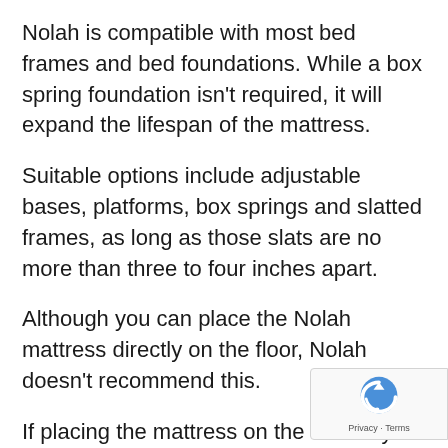Nolah is compatible with most bed frames and bed foundations. While a box spring foundation isn't required, it will expand the lifespan of the mattress.
Suitable options include adjustable bases, platforms, box springs and slatted frames, as long as those slats are no more than three to four inches apart.
Although you can place the Nolah mattress directly on the floor, Nolah doesn't recommend this.
If placing the mattress on the floor is your only option, just make sure to thoroughly clean and dry the surface before placing the mattress down.
In many cases, placing a mattress on the floor can void the warranty, can result in mold and mildew. It also increases the likeliness of insects and dust bites.